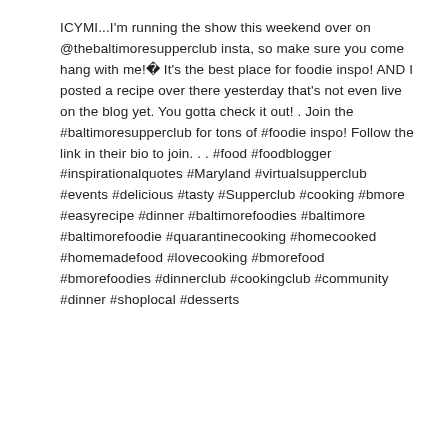ICYMI...I'm running the show this weekend over on @thebaltimoresupperclub insta, so make sure you come hang with me!🎉 It's the best place for foodie inspo! AND I posted a recipe over there yesterday that's not even live on the blog yet. You gotta check it out! . Join the #baltimoresupperclub for tons of #foodie inspo! Follow the link in their bio to join. . . #food #foodblogger #inspirationalquotes #Maryland #virtualsupperclub #events #delicious #tasty #Supperclub #cooking #bmore #easyrecipe #dinner #baltimorefoodies #baltimore #baltimorefoodie #quarantinecooking #homecooked #homemadefood #lovecooking #bmorefood #bmorefoodies #dinnerclub #cookingclub #community #dinner #shoplocal #desserts